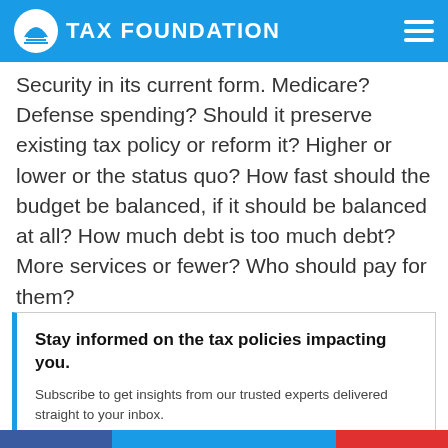TAX FOUNDATION
Security in its current form. Medicare? Defense spending? Should it preserve existing tax policy or reform it? Higher or lower or the status quo? How fast should the budget be balanced, if it should be balanced at all? How much debt is too much debt? More services or fewer? Who should pay for them?
Stay tuned for more on this vital topic.
Stay informed on the tax policies impacting you.
Subscribe to get insights from our trusted experts delivered straight to your inbox.